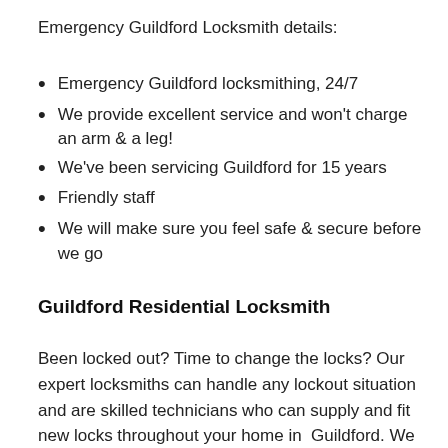Emergency Guildford Locksmith details:
Emergency Guildford locksmithing, 24/7
We provide excellent service and won't charge an arm & a leg!
We've been servicing Guildford for 15 years
Friendly staff
We will make sure you feel safe & secure before we go
Guildford Residential Locksmith
Been locked out? Time to change the locks? Our expert locksmiths can handle any lockout situation and are skilled technicians who can supply and fit new locks throughout your home in  Guildford. We can also supply and fit new locks to all your windows to make sure there's no way